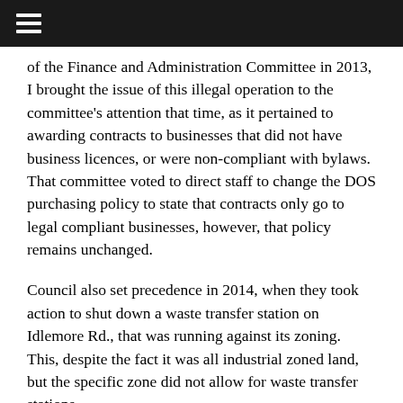≡
of the Finance and Administration Committee in 2013, I brought the issue of this illegal operation to the committee's attention that time, as it pertained to awarding contracts to businesses that did not have business licences, or were non-compliant with bylaws. That committee voted to direct staff to change the DOS purchasing policy to state that contracts only go to legal compliant businesses, however, that policy remains unchanged.
Council also set precedence in 2014, when they took action to shut down a waste transfer station on Idlemore Rd., that was running against its zoning. This, despite the fact it was all industrial zoned land, but the specific zone did not allow for waste transfer stations.
This current situation is a magnitude larger in its contravention of zoning, with a full industrial operation taking place on rural agricultural land next to a salmon bearing river, a public park, and residences. Despite not being a farm, this operation has been getting away with paying farm taxes, and reduced taxes for over